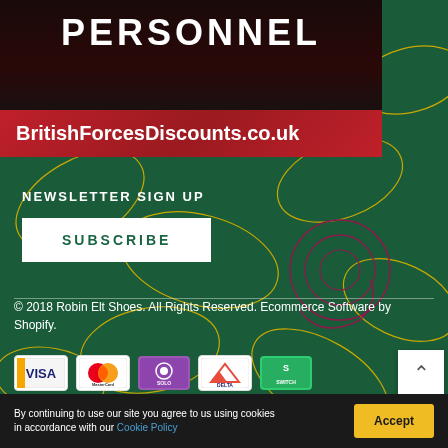[Figure (photo): Dark background image with large white bold text reading PERSONNEL]
PERSONNEL
BritishForcesDiscounts.co.uk
NEWSLETTER SIGN UP
SUBSCRIBE
© 2018 Robin Elt Shoes. All Rights Reserved. Ecommerce Software by Shopify.
[Figure (other): Payment method icons: Visa, MasterCard, Solo, Delta, Switch]
By continuing to use our site you agree to us using cookies in accordance with our Cookie Policy